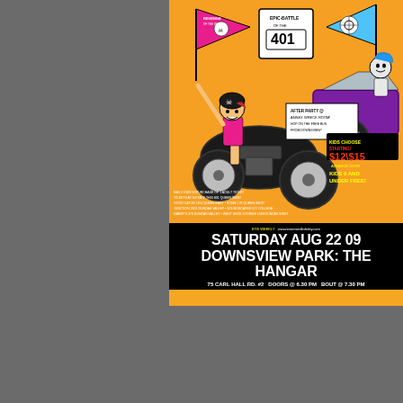[Figure (illustration): Comic-style roller derby event flyer with orange background. Features a female roller derby skater on a motorcycle holding a pink flag with a skull, and a skeleton character in a purple hot rod car holding a blue flag with a wheel symbol. Highway 401 sign in center top reads 'EPIC BATTLE OF THE 401'. After party text box visible. Price info: $12 advance / $15 door, Kids 9 and under free. Ticket locations listed. Eye Weekly logo and website www.torontorollderby.com shown.]
SATURDAY AUG 22 09 DOWNSVIEW PARK: THE HANGAR
75 CARL HALL RD. #2  DOORS @ 6.30 PM  BOUT @ 7.30 PM